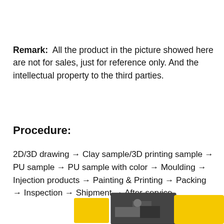Remark:  All the product in the picture showed here are not for sales, just for reference only. And the intellectual property to the third parties.
Procedure:
2D/3D drawing → Clay sample/3D printing sample → PU sample → PU sample with color → Moulding → Injection products → Painting & Printing → Packing → Inspection → Shipment → After-service
[Figure (photo): Bottom portion showing partial images: yellow block on left, photo of person working at a table in center, yellow shape on right]